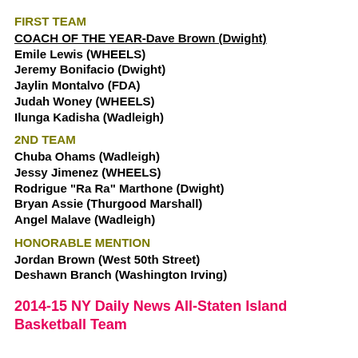FIRST TEAM
COACH OF THE YEAR-Dave Brown (Dwight)
Emile Lewis (WHEELS)
Jeremy Bonifacio (Dwight)
Jaylin Montalvo (FDA)
Judah Woney (WHEELS)
Ilunga Kadisha (Wadleigh)
2ND TEAM
Chuba Ohams (Wadleigh)
Jessy Jimenez (WHEELS)
Rodrigue "Ra Ra" Marthone (Dwight)
Bryan Assie (Thurgood Marshall)
Angel Malave (Wadleigh)
HONORABLE MENTION
Jordan Brown (West 50th Street)
Deshawn Branch (Washington Irving)
2014-15 NY Daily News All-Staten Island Basketball Team